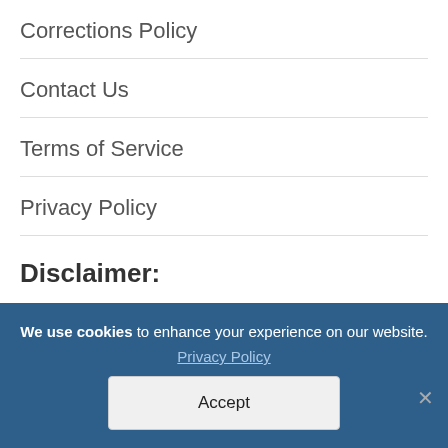Corrections Policy
Contact Us
Terms of Service
Privacy Policy
Disclaimer:
Fibromyalgia News Today is strictly a news and
We use cookies to enhance your experience on our website. Privacy Policy Accept